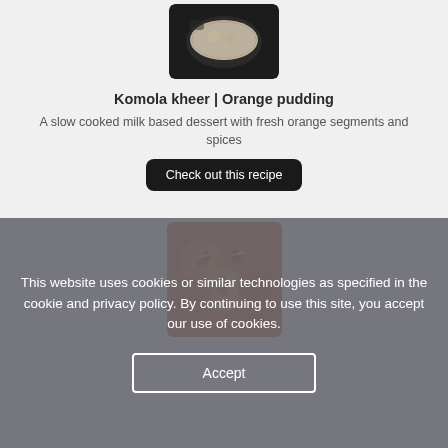[Figure (photo): A bowl of Komola kheer orange pudding, a milk-based dessert, photographed from above against a dark background]
Komola kheer | Orange pudding
A slow cooked milk based dessert with fresh orange segments and spices
Check out this recipe
[Figure (photo): Close-up of round fried sweets garnished with rose petals and sliced nuts]
This website uses cookies or similar technologies as specified in the cookie and privacy policy. By continuing to use this site, you accept our use of cookies.
Accept